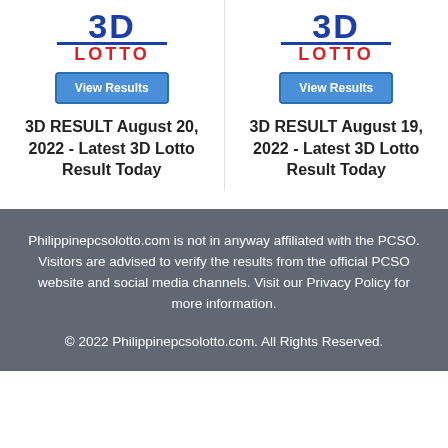[Figure (logo): 3D Lotto logo with blue '3D' text and red 'LOTTO' text, left card]
[Figure (logo): 3D Lotto logo with blue '3D' text and red 'LOTTO' text, right card]
3D RESULT August 20, 2022 - Latest 3D Lotto Result Today
3D RESULT August 19, 2022 - Latest 3D Lotto Result Today
Philippinepcsolotto.com is not in anyway affiliated with the PCSO. Visitors are advised to verify the results from the official PCSO website and social media channels. Visit our Privacy Policy for more information.
© 2022 Philippinepcsolotto.com. All Rights Reserved.